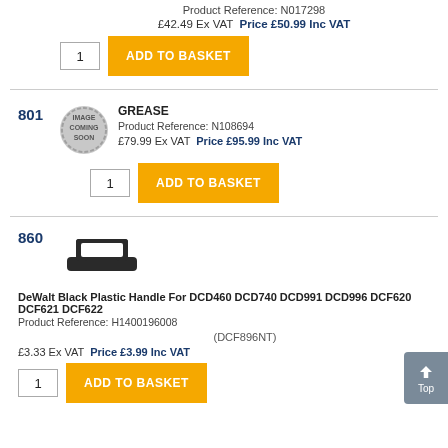Product Reference: N017298
£42.49 Ex VAT  Price £50.99 Inc VAT
1  ADD TO BASKET
801
[Figure (illustration): IMAGE COMING SOON badge/seal]
GREASE
Product Reference: N108694
£79.99 Ex VAT  Price £95.99 Inc VAT
1  ADD TO BASKET
860
[Figure (photo): Black plastic handle bracket part]
DeWalt Black Plastic Handle For DCD460 DCD740 DCD991 DCD996 DCF620 DCF621 DCF622
Product Reference: H1400196008
(DCF896NT)
£3.33 Ex VAT  Price £3.99 Inc VAT
1  ADD TO BASKET